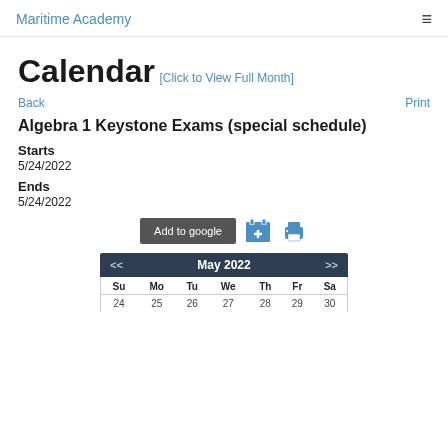Maritime Academy
Calendar
[Click to View Full Month]
Back   Print
Algebra 1 Keystone Exams (special schedule)
Starts
5/24/2022
Ends
5/24/2022
[Figure (other): Action buttons: Add to google, add to calendar icon, print icon]
| Su | Mo | Tu | We | Th | Fr | Sa |
| --- | --- | --- | --- | --- | --- | --- |
| 24 | 25 | 26 | 27 | 28 | 29 | 30 |